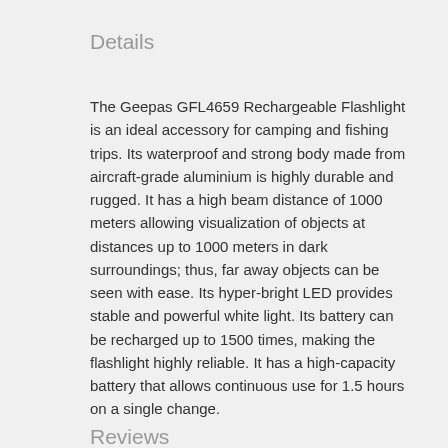Details
The Geepas GFL4659 Rechargeable Flashlight is an ideal accessory for camping and fishing trips. Its waterproof and strong body made from aircraft-grade aluminium is highly durable and rugged. It has a high beam distance of 1000 meters allowing visualization of objects at distances up to 1000 meters in dark surroundings; thus, far away objects can be seen with ease. Its hyper-bright LED provides stable and powerful white light. Its battery can be recharged up to 1500 times, making the flashlight highly reliable. It has a high-capacity battery that allows continuous use for 1.5 hours on a single change.
Reviews